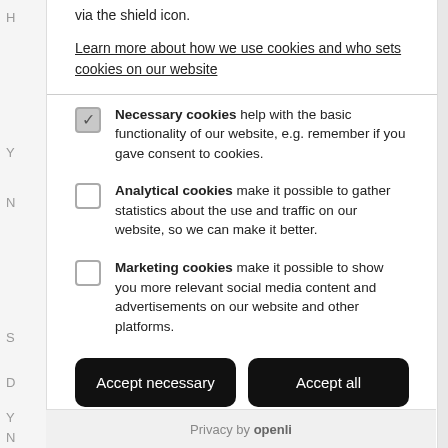via the shield icon.
Learn more about how we use cookies and who sets cookies on our website
Necessary cookies help with the basic functionality of our website, e.g. remember if you gave consent to cookies.
Analytical cookies make it possible to gather statistics about the use and traffic on our website, so we can make it better.
Marketing cookies make it possible to show you more relevant social media content and advertisements on our website and other platforms.
Accept necessary
Accept all
Privacy by openli